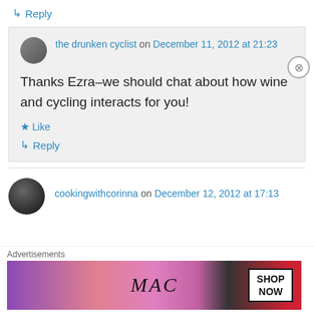↳ Reply
the drunken cyclist on December 11, 2012 at 21:23
Thanks Ezra–we should chat about how wine and cycling interacts for you!
★ Like
↳ Reply
cookingwithcorinna on December 12, 2012 at 17:13
Advertisements